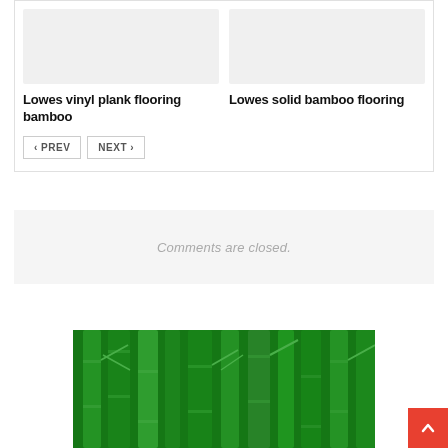[Figure (photo): Gray placeholder image for Lowes vinyl plank flooring bamboo]
[Figure (photo): Gray placeholder image for Lowes solid bamboo flooring]
Lowes vinyl plank flooring bamboo
Lowes solid bamboo flooring
< PREV   NEXT >
Comments are closed.
[Figure (photo): Green bamboo stalks forest photo]